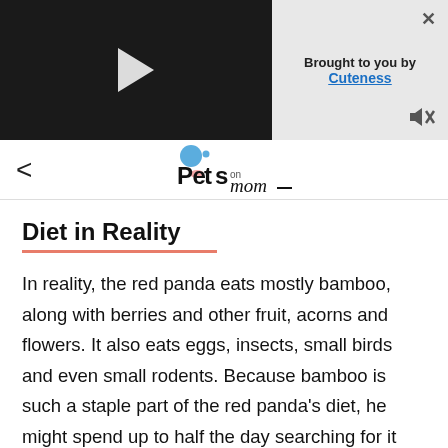[Figure (screenshot): Video player banner with black video area showing a play button, and a gray sidebar with 'Brought to you by Cuteness' text, a close X button, and a mute icon]
[Figure (logo): Pets on Mom logo with blue circle and stylized pet figure]
Diet in Reality
In reality, the red panda eats mostly bamboo, along with berries and other fruit, acorns and flowers. It also eats eggs, insects, small birds and even small rodents. Because bamboo is such a staple part of the red panda's diet, he might spend up to half the day searching for it and eating it.